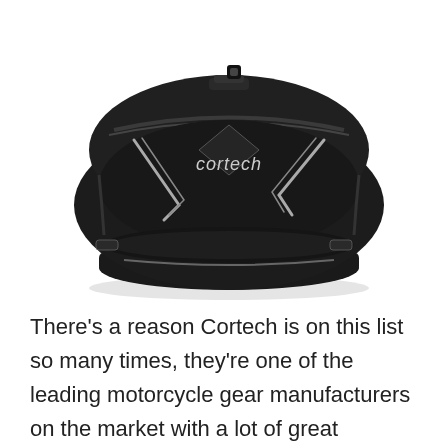[Figure (photo): A black Cortech motorcycle tank bag with silver reflective accents and the Cortech logo on the top. The bag has multiple zippers and appears to have a magnetic or strap-based mounting system on the bottom.]
There's a reason Cortech is on this list so many times, they're one of the leading motorcycle gear manufacturers on the market with a lot of great products. This first bag is one of their most popular styles, and